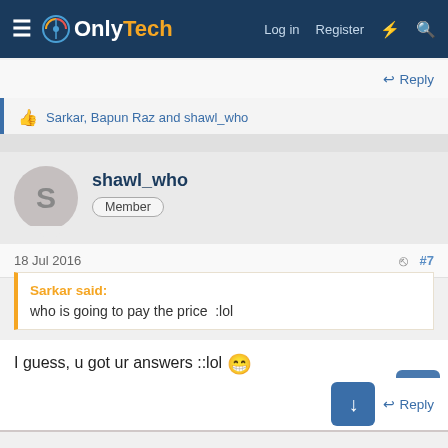OnlyTech — Log in  Register
Reply
Sarkar, Bapun Raz and shawl_who
shawl_who — Member
18 Jul 2016  #7
Sarkar said: who is going to pay the price  :lol
I guess, u got ur answers ::lol 😁
Reply